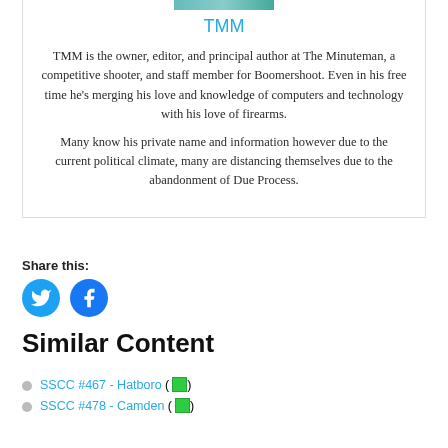[Figure (photo): Small cropped photo strip of a person outdoors]
TMM
TMM is the owner, editor, and principal author at The Minuteman, a competitive shooter, and staff member for Boomershoot. Even in his free time he’s merging his love and knowledge of computers and technology with his love of firearms.
Many know his private name and information however due to the current political climate, many are distancing themselves due to the abandonment of Due Process.
Share this:
[Figure (illustration): Twitter and Facebook share buttons (circular icons)]
Similar Content
SSCC #467 - Hatboro
SSCC #478 - Camden